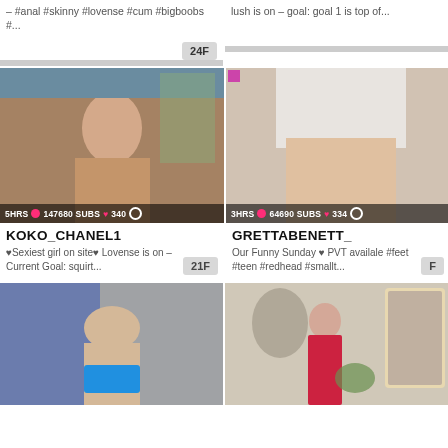[Figure (screenshot): Top-left partial card: text with hashtags #anal #skinny #lovense #cum #bigboobs #..., age badge 24F]
[Figure (screenshot): Top-right partial card: text 'lush is on -- goal: goal 1 is top of...']
[Figure (photo): Middle-left card: webcam thumbnail, overlay shows 5HRS, 147680 SUBS, 340]
KOKO_CHANEL1
♥Sexiest girl on site♥ Lovense is on -- Current Goal: squirt...
[Figure (photo): Middle-right card: webcam thumbnail, overlay shows 3HRS, 64690 SUBS, 334]
GRETTABENETT_
Our Funny Sunday ♥ PVT availale #feet #teen #redhead #smallt...
[Figure (photo): Bottom-left card: webcam thumbnail, person in blue underwear]
[Figure (photo): Bottom-right card: webcam thumbnail, person in red outfit with mirror]